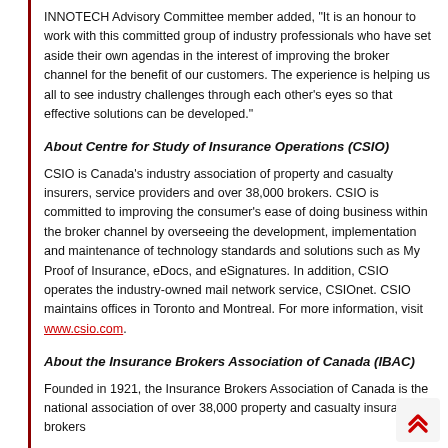INNOTECH Advisory Committee member added, “It is an honour to work with this committed group of industry professionals who have set aside their own agendas in the interest of improving the broker channel for the benefit of our customers. The experience is helping us all to see industry challenges through each other’s eyes so that effective solutions can be developed.”
About Centre for Study of Insurance Operations (CSIO)
CSIO is Canada’s industry association of property and casualty insurers, service providers and over 38,000 brokers. CSIO is committed to improving the consumer’s ease of doing business within the broker channel by overseeing the development, implementation and maintenance of technology standards and solutions such as My Proof of Insurance, eDocs, and eSignatures. In addition, CSIO operates the industry-owned mail network service, CSIOnet. CSIO maintains offices in Toronto and Montreal. For more information, visit www.csio.com.
About the Insurance Brokers Association of Canada (IBAC)
Founded in 1921, the Insurance Brokers Association of Canada is the national association of over 38,000 property and casualty insurance brokers...